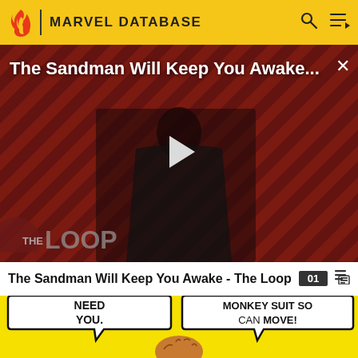MARVEL DATABASE
[Figure (screenshot): Video thumbnail showing The Sandman character in black costume against red diagonal striped background with THE LOOP branding. White play button in center. Title overlay reads 'The Sandman Will Keep You Awake...' with close X button.]
The Sandman Will Keep You Awake - The Loop
[Figure (illustration): Comic book style illustration on yellow background with speech bubbles. Left bubble reads 'NEED YOU.' and right bubble reads 'MONKEY SUIT SO CAN MOVE!' with a brain character at bottom center.]